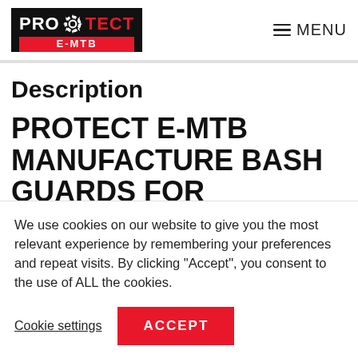PROTECT E-MTB [logo] MENU
Description
PROTECT E-MTB MANUFACTURE BASH GUARDS FOR SPECIALIZED
We use cookies on our website to give you the most relevant experience by remembering your preferences and repeat visits. By clicking "Accept", you consent to the use of ALL the cookies.
Cookie settings  ACCEPT